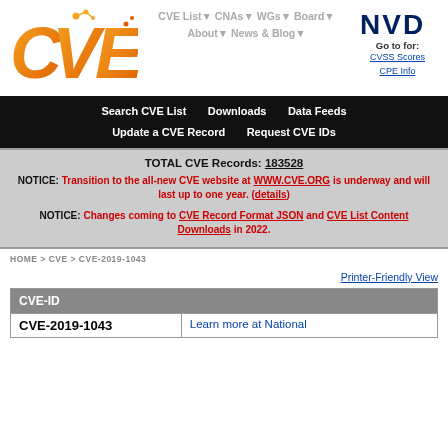[Figure (logo): CVE logo - orange gradient letters CVE with circuit-dot design, NVD logo top right with Go to for: CVSS Scores, CPE Info links]
CVE List▼  CNAs▼  WGs▼  Board▼  About▼  News & Blog▼
NVD Go to for: CVSS Scores CPE Info
Search CVE List    Downloads    Data Feeds    Update a CVE Record    Request CVE IDs
TOTAL CVE Records: 183528
NOTICE: Transition to the all-new CVE website at WWW.CVE.ORG is underway and will last up to one year. (details)
NOTICE: Changes coming to CVE Record Format JSON and CVE List Content Downloads in 2022.
HOME > CVE > CVE-2019-1043
Printer-Friendly View
| CVE-ID |  |
| --- | --- |
| CVE-2019-1043 | Learn more at National |